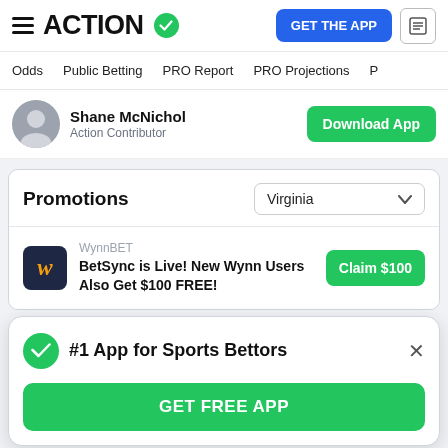ACTION — GET THE APP
Odds  Public Betting  PRO Report  PRO Projections
Shane McNichol — Action Contributor — Download App
Promotions — Virginia (dropdown)
WynnBET — BetSync is Live! New Wynn Users Also Get $100 FREE! — Claim $100
#1 App for Sports Bettors — GET FREE APP